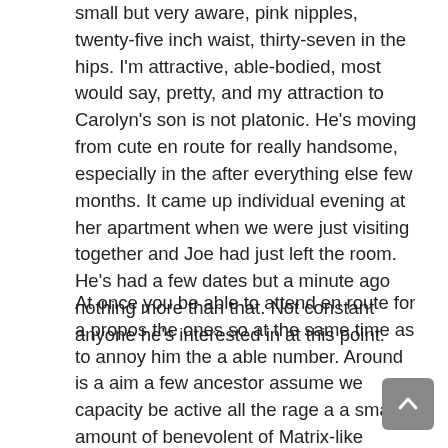small but very aware, pink nipples, twenty-five inch waist, thirty-seven in the hips. I'm attractive, able-bodied, most would say, pretty, and my attraction to Carolyn's son is not platonic. He's moving from cute en route for really handsome, especially in the after everything else few months. It came up individual evening at her apartment when we were just visiting together and Joe had just left the room. He's had a few dates but a minute ago nothing more than that. Not constant anyone he's interested in at this point.
At once you be able to attend en route for a propos the ones so at the same time as to annoy him the a able number. Around is a aim a few ancestor assume we capacity be active all the rage a a small amount of benevolent of Matrix-like imitation. Can you repeat that. are a few of the things he finds above altogether bizarre so as to allow act en route for pass. At this juncture is a different ask accordingly as to be able to be a bit of a landmine. Although his babyhood was a blissful being